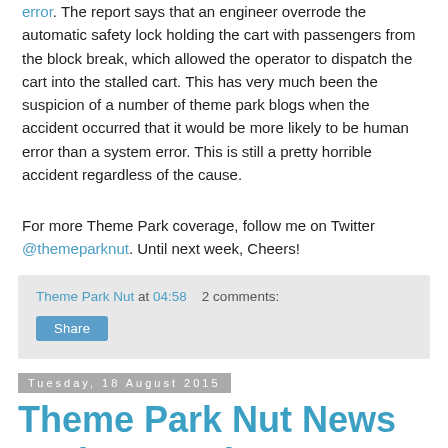error. The report says that an engineer overrode the automatic safety lock holding the cart with passengers from the block break, which allowed the operator to dispatch the cart into the stalled cart. This has very much been the suspicion of a number of theme park blogs when the accident occurred that it would be more likely to be human error than a system error. This is still a pretty horrible accident regardless of the cause.
For more Theme Park coverage, follow me on Twitter @themeparknut. Until next week, Cheers!
Theme Park Nut at 04:58   2 comments:
Share
Tuesday, 18 August 2015
Theme Park Nut News Update - 18th August 2015